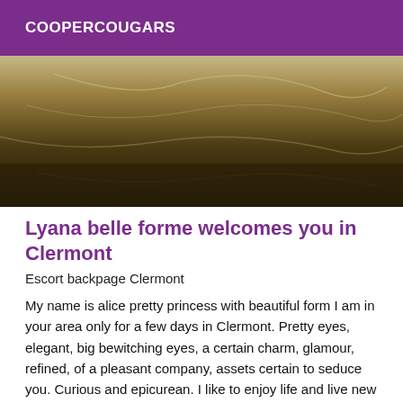COOPERCOUGARS
[Figure (photo): Dark photo of a crumpled light-colored fabric or sheet against a dark background]
Lyana belle forme welcomes you in Clermont
Escort backpage Clermont
My name is alice pretty princess with beautiful form I am in your area only for a few days in Clermont. Pretty eyes, elegant, big bewitching eyes, a certain charm, glamour, refined, of a pleasant company, assets certain to seduce you. Curious and epicurean. I like to enjoy life and live new experiences. I am a simple and naughty young woman who proposes you to come and join you. for an intense and relaxing moment in a friendly and respectful